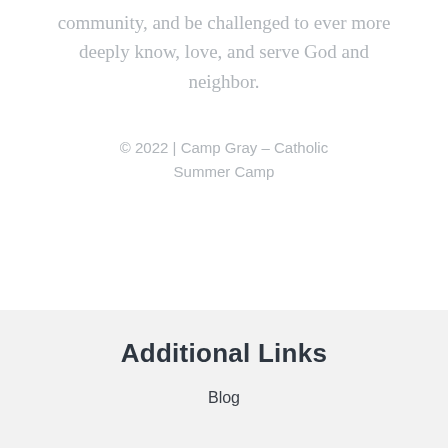experience a fun and vibrant Catholic community, and be challenged to ever more deeply know, love, and serve God and neighbor.
© 2022 | Camp Gray – Catholic Summer Camp
Additional Links
Blog